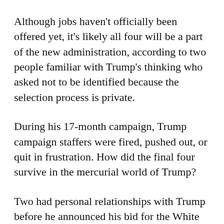Although jobs haven't officially been offered yet, it's likely all four will be a part of the new administration, according to two people familiar with Trump's thinking who asked not to be identified because the selection process is private.
During his 17-month campaign, Trump campaign staffers were fired, pushed out, or quit in frustration. How did the final four survive in the mercurial world of Trump?
Two had personal relationships with Trump before he announced his bid for the White House: Hicks and Scavino. The other two didn't know Trump but quickly made themselves indispensable. They a d running afoul of Trump's oldest three children, who